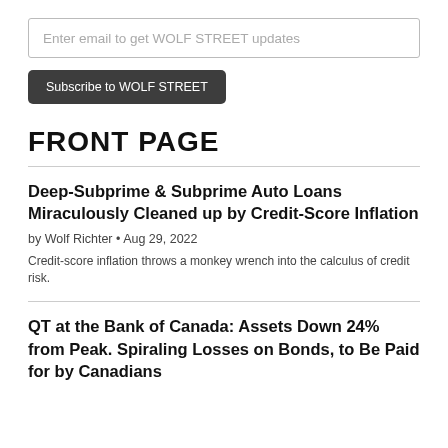Enter email to get WOLF STREET updates
Subscribe to WOLF STREET
FRONT PAGE
Deep-Subprime & Subprime Auto Loans Miraculously Cleaned up by Credit-Score Inflation
by Wolf Richter • Aug 29, 2022
Credit-score inflation throws a monkey wrench into the calculus of credit risk.
QT at the Bank of Canada: Assets Down 24% from Peak. Spiraling Losses on Bonds, to Be Paid for by Canadians